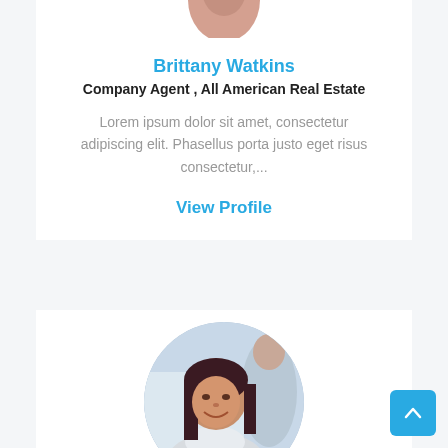[Figure (photo): Partial top of a person's head (avatar photo cropped at top)]
Brittany Watkins
Company Agent , All American Real Estate
Lorem ipsum dolor sit amet, consectetur adipiscing elit. Phasellus porta justo eget risus consectetur,...
View Profile
[Figure (photo): Circular headshot photo of a smiling woman with dark hair in professional attire, background shows another person]